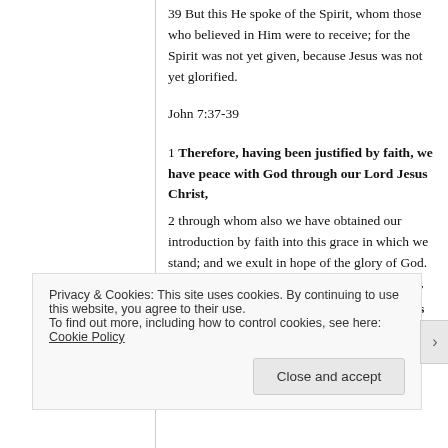39 But this He spoke of the Spirit, whom those who believed in Him were to receive; for the Spirit was not yet given, because Jesus was not yet glorified.
John 7:37-39
1 Therefore, having been justified by faith, we have peace with God through our Lord Jesus Christ,
2 through whom also we have obtained our introduction by faith into this grace in which we stand; and we exult in hope of the glory of God.
3 And not only this, but we also rejoice in our tribulations, knowing that tribulation brings about perseverance;
4 and perseverance, proven character; and
Privacy & Cookies: This site uses cookies. By continuing to use this website, you agree to their use.
To find out more, including how to control cookies, see here: Cookie Policy
Close and accept